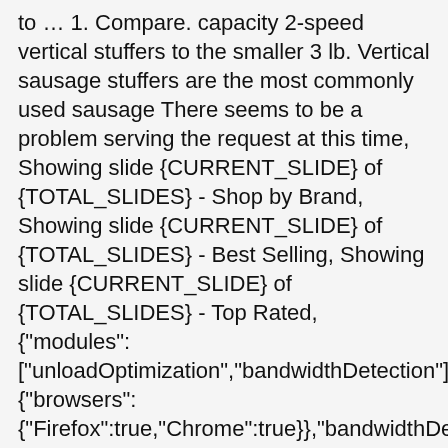to … 1. Compare. capacity 2-speed vertical stuffers to the smaller 3 lb. Vertical sausage stuffers are the most commonly used sausage There seems to be a problem serving the request at this time, Showing slide {CURRENT_SLIDE} of {TOTAL_SLIDES} - Shop by Brand, Showing slide {CURRENT_SLIDE} of {TOTAL_SLIDES} - Best Selling, Showing slide {CURRENT_SLIDE} of {TOTAL_SLIDES} - Top Rated, {"modules":["unloadOptimization","bandwidthDetection"],"unloadOp {"browsers":{"Firefox":true,"Chrome":true}},"bandwidthDetection":{"url":"https://ir.ebaystatic.com/cr/v/c1/thirtysevens.jpg", Hakka Brothers SV-5 11 lb/5L 2-Speed Sausage Maker, VEVOR 12l Electric Sausage Stuffer Multispeed Stainless Steel Filler 28lbs, 25 Fibrous Sausage Casings 2 X 12 Clear 1 Pound Capacity Each, Stainless Steel Meat Packing Kit Includes 200 1lb Wild Game Bags Tape, 5l Vertical Commercial Sausage Stuffer 11lb Two Speed Stainless Steel Meat Press, Hakka Brothers SV15 2 Speed Sausage Maker, 5l Electric Sausage Stuffer Vertical Stainless Meat Filler Grinder, Camo Print Wild Game